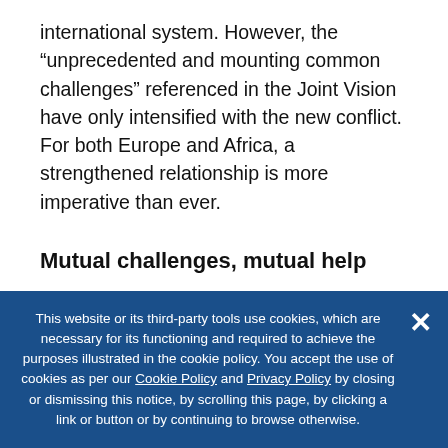international system. However, the “unprecedented and mounting common challenges” referenced in the Joint Vision have only intensified with the new conflict. For both Europe and Africa, a strengthened relationship is more imperative than ever.
Mutual challenges, mutual help
Already dealing with pandemic setbacks, European officials suddenly had to address a nuclear adversary, a new refugee emergency that could see
This website or its third-party tools use cookies, which are necessary for its functioning and required to achieve the purposes illustrated in the cookie policy. You accept the use of cookies as per our Cookie Policy and Privacy Policy by closing or dismissing this notice, by scrolling this page, by clicking a link or button or by continuing to browse otherwise.